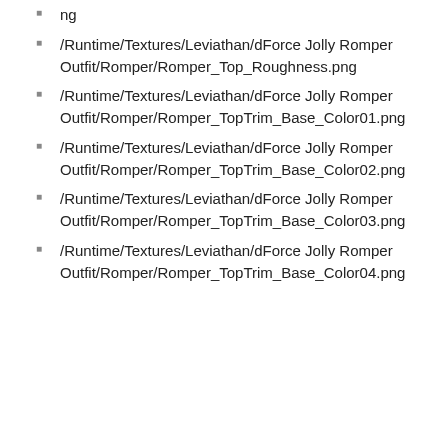ng
/Runtime/Textures/Leviathan/dForce Jolly Romper Outfit/Romper/Romper_Top_Roughness.png
/Runtime/Textures/Leviathan/dForce Jolly Romper Outfit/Romper/Romper_TopTrim_Base_Color01.png
/Runtime/Textures/Leviathan/dForce Jolly Romper Outfit/Romper/Romper_TopTrim_Base_Color02.png
/Runtime/Textures/Leviathan/dForce Jolly Romper Outfit/Romper/Romper_TopTrim_Base_Color03.png
/Runtime/Textures/Leviathan/dForce Jolly Romper Outfit/Romper/Romper_TopTrim_Base_Color04.png